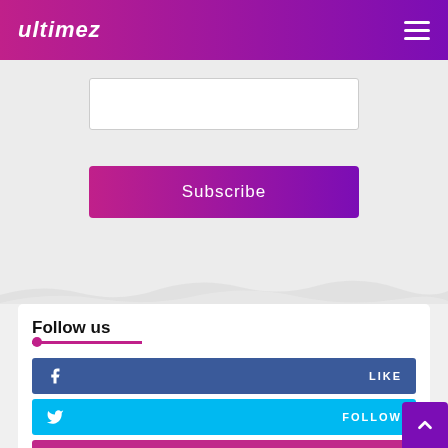ultimez
[Figure (screenshot): Input text box (white rectangle with border) for subscription form]
Subscribe
Follow us
LIKE
FOLLOW
SUBSCRIBE
FOLLOW